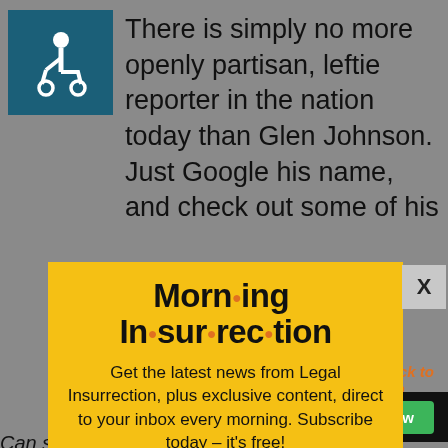[Figure (illustration): Disability/wheelchair accessibility icon in white on teal/dark blue square background]
There is simply no more openly partisan, leftie reporter in the nation today than Glen Johnson. Just Google his name, and check out some of his
[Figure (screenshot): Modal popup with yellow background. Title: 'Morn·ing In·sur·rec·tion'. Body: 'Get the latest news from Legal Insurrection, plus exclusive content, direct to your inbox every morning. Subscribe today – it's free!' Button: 'JOIN NOW'. Close button X in upper right.]
supporters" just b×use she stated that...
[Figure (logo): Fiverr logo and Start Now button on black bar]